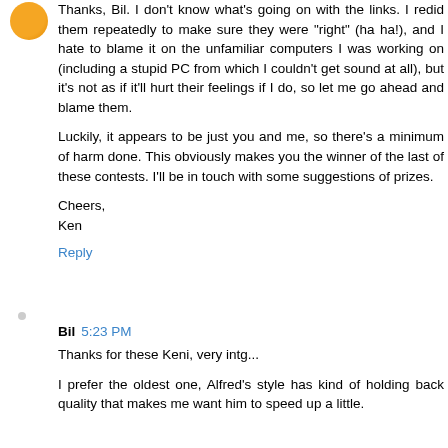Thanks, Bil. I don't know what's going on with the links. I redid them repeatedly to make sure they were "right" (ha ha!), and I hate to blame it on the unfamiliar computers I was working on (including a stupid PC from which I couldn't get sound at all), but it's not as if it'll hurt their feelings if I do, so let me go ahead and blame them.
Luckily, it appears to be just you and me, so there's a minimum of harm done. This obviously makes you the winner of the last of these contests. I'll be in touch with some suggestions of prizes.
Cheers,
Ken
Reply
Bil  5:23 PM
Thanks for these Keni, very intg...
I prefer the oldest one, Alfred's style has kind of holding back quality that makes me want him to speed up a little.